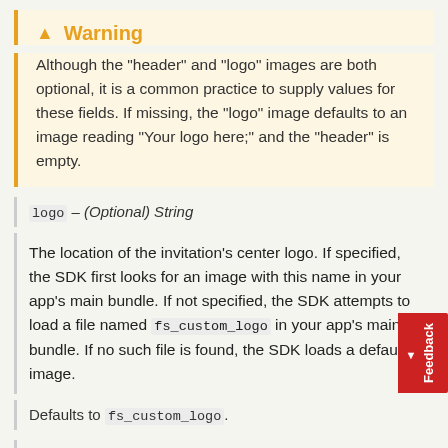Warning
Although the "header" and "logo" images are both optional, it is a common practice to supply values for these fields. If missing, the "logo" image defaults to an image reading "Your logo here;" and the "header" is empty.
logo – (Optional) String
The location of the invitation's center logo. If specified, the SDK first looks for an image with this name in your app's main bundle. If not specified, the SDK attempts to load a file named fs_custom_logo in your app's main bundle. If no such file is found, the SDK loads a default image.
Defaults to fs_custom_logo.
header – (Optional) String